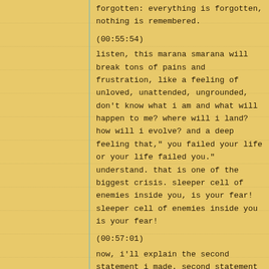forgotten: everything is forgotten, nothing is remembered.
(00:55:54)
listen, this marana smarana will break tons of pains and frustration, like a feeling of unloved, unattended, ungrounded, don't know what i am and what will happen to me? where will i land? how will i evolve? and a deep feeling that," you failed your life or your life failed you." understand. that is one of the biggest crisis. sleeper cell of enemies inside you, is your fear! sleeper cell of enemies inside you is your fear!
(00:57:01)
now, i'll explain the second statement i made. second statement i made is, "life is all about what you do to others, not about what you feel about yourself." here i mean, drop the selfishness, constant selfishness and plans to pamper yourself and get out of your shell and go on enriching,